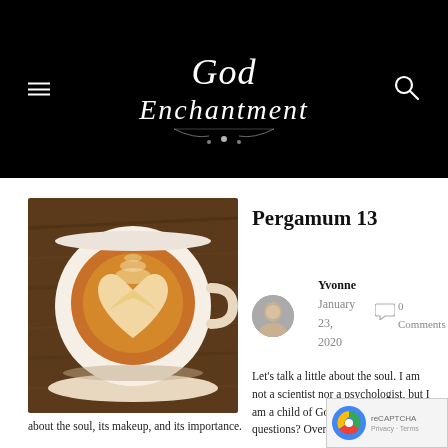God Enchantment — site header with navigation menu and search icon
[Figure (photo): Overhead photo of a latte with heart-shaped latte art in a white ceramic cup on a wooden table]
Pergamum 13
Yvonne
January 23, 2020
0 Comments
Let's talk a little about the soul. I am not a scientist nor a psychologist, but I am a child of God and ask Him a lot of questions? Over time He has revealed some beautiful things about the soul, its makeup, and its importance.